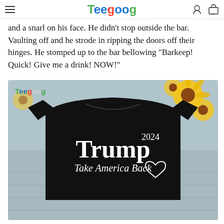Teegoog
and a snarl on his face. He didn't stop outside the bar. Vaulting off and he strode in ripping the doors off their hinges. He stomped up to the bar bellowing "Barkeep! Quick! Give me a drink! NOW!"
[Figure (photo): A black t-shirt with 'Trump 2024 Take America Back' text and a heart outline, displayed against a background of sunflowers and a wooden surface. A Teegoog watermark is visible in the top-left corner of the product image.]